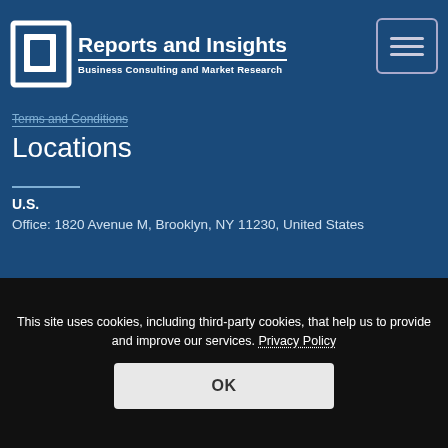Reports and Insights — Business Consulting and Market Research
Terms and Conditions
Locations
U.S.
Office: 1820 Avenue M, Brooklyn, NY 11230, United States
INDIA
Office: APAC delivery center-315,Shopping Center,Kota-324007,Rajasthan
This site uses cookies, including third-party cookies, that help us to provide and improve our services. Privacy Policy OK